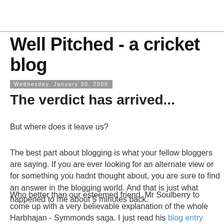Well Pitched - a cricket blog
Wednesday, January 30, 2008
The verdict has arrived...
But where does it leave us?
The best part about blogging is what your fellow bloggers are saying. If you are ever looking for an alternate view or for something you hadnt thought about, you are sure to find an answer in the blogging world. And that is just what happened to me about 5 minutes back.
Who better than our esteemed friend, Mr Soulberry to come up with a very believable explanation of the whole Harbhajan - Symmonds saga. I just read his blog entry where, being from Punjab he explains that one of the choicest combinations of Punjabi vernacular can easily sound like the word monkey. If this is actually what happened then it makes